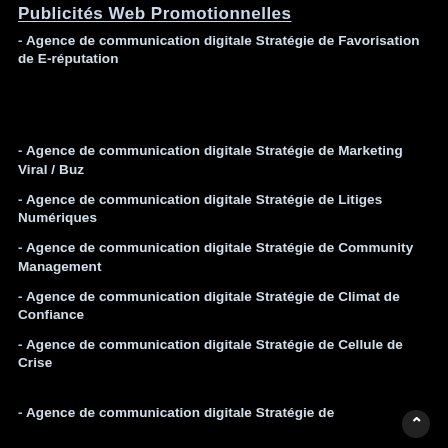Publicités Web Promotionnelles
- Agence de communication digitale Stratégie de Favorisation de E-réputation
- Agence de communication digitale Stratégie de Marketing Viral / Buz
- Agence de communication digitale Stratégie de Litiges Numériques
- Agence de communication digitale Stratégie de Community Management
- Agence de communication digitale Stratégie de Climat de Confiance
- Agence de communication digitale Stratégie de Cellule de Crise
- Agence de communication digitale Stratégie de